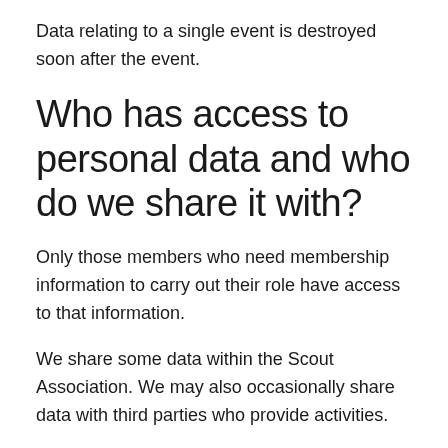Data relating to a single event is destroyed soon after the event.
Who has access to personal data and who do we share it with?
Only those members who need membership information to carry out their role have access to that information.
We share some data within the Scout Association. We may also occasionally share data with third parties who provide activities.